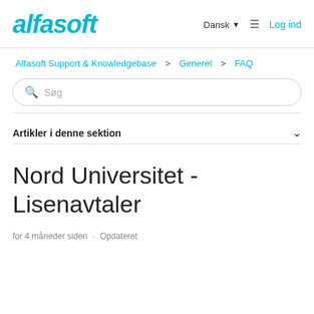alfasoft   Dansk   Log ind
Alfasoft Support & Knowledgebase > Generel > FAQ
Søg
Artikler i denne sektion
Nord Universitet - Lisenavtaler
for 4 måneder siden · Opdateret